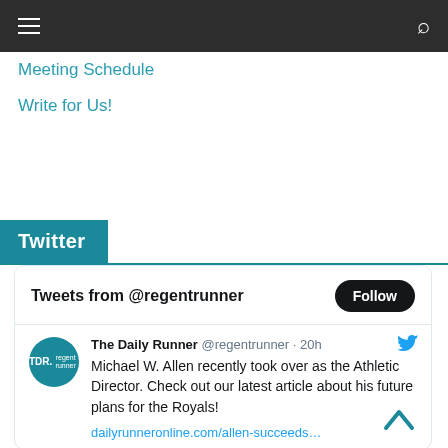≡  🔍
Meeting Schedule
Write for Us!
Twitter
[Figure (screenshot): Embedded Twitter widget showing tweets from @regentrunner with a Follow button. Contains a tweet from The Daily Runner @regentrunner · 20h: Michael W. Allen recently took over as the Athletic Director. Check out our latest article about his future plans for the Royals! dailyrunneronline.com/allen-succeeds…]